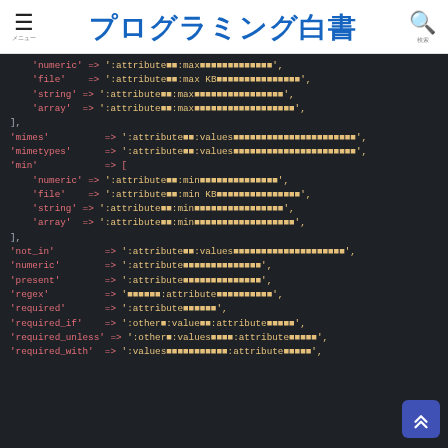プログラミング白書
[Figure (screenshot): PHP/Laravel validation messages code block showing array entries for 'file', 'string', 'array' max rules, 'mimes', 'mimetypes', 'min' with sub-entries, 'not_in', 'numeric', 'present', 'regex', 'required', 'required_if', 'required_unless', 'required_with' keys with Japanese string values]